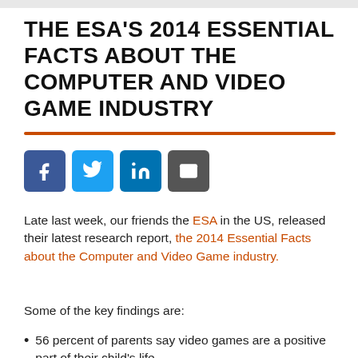THE ESA'S 2014 ESSENTIAL FACTS ABOUT THE COMPUTER AND VIDEO GAME INDUSTRY
[Figure (other): Social media share buttons: Facebook, Twitter, LinkedIn, Email]
Late last week, our friends the ESA in the US, released their latest research report, the 2014 Essential Facts about the Computer and Video Game industry.
Some of the key findings are:
56 percent of parents say video games are a positive part of their child's life